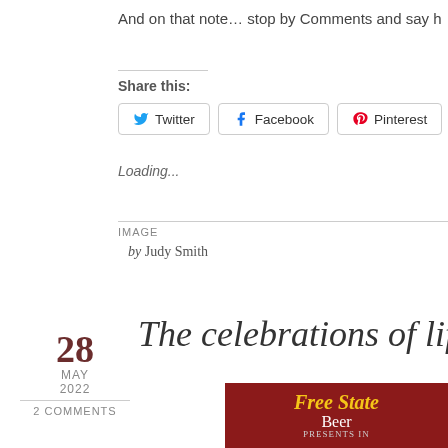And on that note… stop by Comments and say h
Share this:
Twitter  Facebook  Pinterest  More
Loading...
IMAGE
by Judy Smith
The celebrations of life...
28
MAY
2022
2 Comments
[Figure (photo): Free State Beer logo on red background with yellow stylized text]